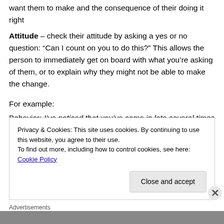want them to make and the consequence of their doing it right
Attitude – check their attitude by asking a yes or no question: “Can I count on you to do this?” This allows the person to immediately get on board with what you’re asking of them, or to explain why they might not be able to make the change.
For example:
Behavior: I’ve noticed that you’ve come in late several times this week.
Privacy & Cookies: This site uses cookies. By continuing to use this website, you agree to their use.
To find out more, including how to control cookies, see here: Cookie Policy
Close and accept
Advertisements